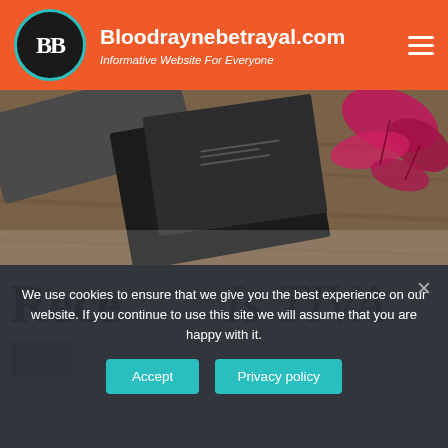Bloodraynebetrayal.com — Informative Website For Everyone
[Figure (photo): Overhead flat-lay photo of notebooks, a laptop, and decorative red maple leaves on a wooden surface]
Rece
Is TIVA
We use cookies to ensure that we give you the best experience on our website. If you continue to use this site we will assume that you are happy with it.
Accept
Privacy policy